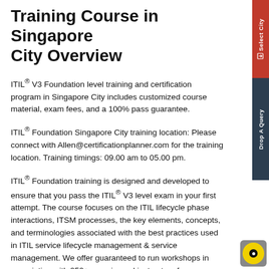Training Course in Singapore City Overview
ITIL® V3 Foundation level training and certification program in Singapore City includes customized course material, exam fees, and a 100% pass guarantee.
ITIL® Foundation Singapore City training location: Please connect with Allen@certificationplanner.com for the training location. Training timings: 09.00 am to 05.00 pm.
ITIL® Foundation training is designed and developed to ensure that you pass the ITIL® V3 level exam in your first attempt. The course focuses on the ITIL lifecycle phase interactions, ITSM processes, the key elements, concepts, and terminologies associated with the best practices used in ITIL service lifecycle management & service management. We offer guaranteed to run workshops in association with 250+ experienced instructors from across the domain to ease your learning experience.
Courseware developed by industry leaders with a 100% success rate
Guaranteed to run the classes to let you focus only